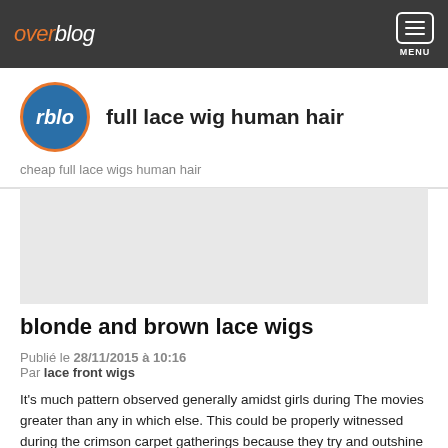overblog  MENU
full lace wig human hair
cheap full lace wigs human hair
[Figure (other): Gray placeholder advertisement block]
blonde and brown lace wigs
Publié le 28/11/2015 à 10:16
Par lace front wigs
It's much pattern observed generally amidst girls during The movies greater than any in which else. This could be properly witnessed during the crimson carpet gatherings because they try and outshine one another by their new…